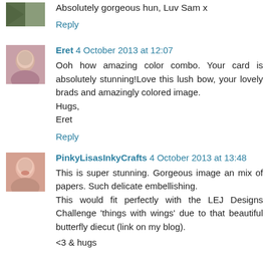Absolutely gorgeous hun, Luv Sam x
Reply
Eret 4 October 2013 at 12:07
Ooh how amazing color combo. Your card is absolutely stunning!Love this lush bow, your lovely brads and amazingly colored image.
Hugs,
Eret
Reply
PinkyLisasInkyCrafts 4 October 2013 at 13:48
This is super stunning. Gorgeous image an mix of papers. Such delicate embellishing.
This would fit perfectly with the LEJ Designs Challenge 'things with wings' due to that beautiful butterfly diecut (link on my blog).
<3 & hugs